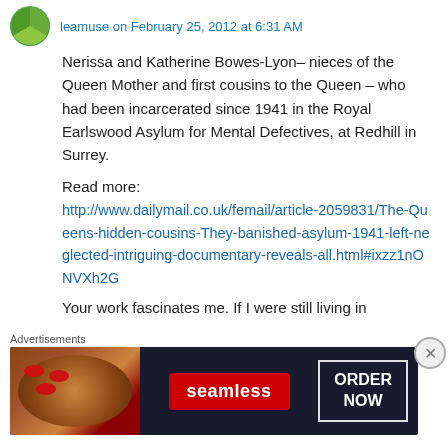leamuse on February 25, 2012 at 6:31 AM
Nerissa and Katherine Bowes-Lyon– nieces of the Queen Mother and first cousins to the Queen – who had been incarcerated since 1941 in the Royal Earlswood Asylum for Mental Defectives, at Redhill in Surrey.
Read more:
http://www.dailymail.co.uk/femail/article-2059831/The-Queens-hidden-cousins-They-banished-asylum-1941-left-neglected-intriguing-documentary-reveals-all.html#ixzz1nONVXh2G
Your work fascinates me. If I were still living in
[Figure (photo): Advertisement banner for Seamless food ordering service featuring pizza image, Seamless logo in red, and ORDER NOW button]